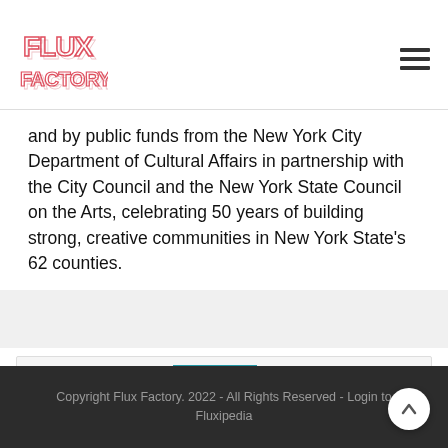[Figure (logo): Flux Factory logo — stylized 3D block letters in red/pink outline]
and by public funds from the New York City Department of Cultural Affairs in partnership with the City Council and the New York State Council on the Arts, celebrating 50 years of building strong, creative communities in New York State's 62 counties.
[Figure (logo): Row of four sponsor logos: NYCulture (NYC Dept of Cultural Affairs), NY State map on teal background, Materials for the Arts, Build It Green NYC]
Copyright Flux Factory. 2022 - All Rights Reserved - Login to Fluxipedia